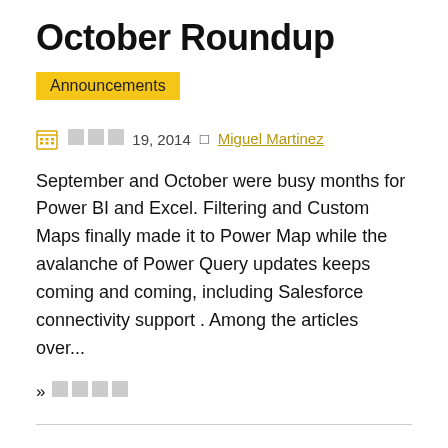October Roundup
Announcements
□□□ 19, 2014 □ Miguel Martinez
September and October were busy months for Power BI and Excel. Filtering and Custom Maps finally made it to Power Map while the avalanche of Power Query updates keeps coming and coming, including Salesforce connectivity support . Among the articles over...
» □□□□
UN's Millennium